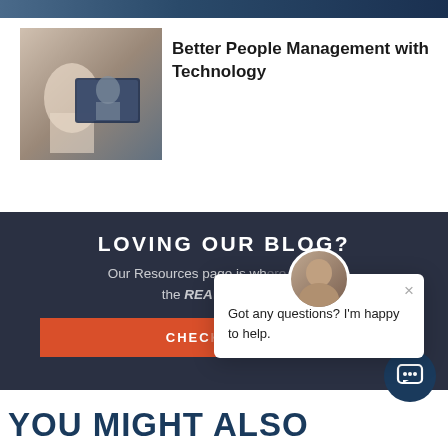[Figure (photo): Top strip showing partial header image with dark blue/teal background]
[Figure (photo): Thumbnail photo of a woman working at a laptop displaying a video call]
Better People Management with Technology
LOVING OUR BLOG?
Our Resources page is wh... keep the REA...
CHEC...
Got any questions? I'm happy to help.
YOU MIGHT ALSO